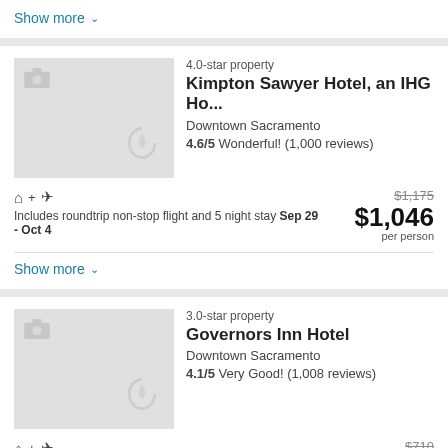Show more ▾
[Figure (photo): Hotel thumbnail placeholder with camera and heart icons – Kimpton Sawyer Hotel]
4.0-star property
Kimpton Sawyer Hotel, an IHG Ho…
Downtown Sacramento
4.6/5 Wonderful! (1,000 reviews)
🏢 + ✈ Includes roundtrip non-stop flight and 5 night stay Sep 29 - Oct 4
$1,175 (strikethrough) $1,046 per person
Show more ▾
[Figure (photo): Hotel thumbnail placeholder with camera and heart icons – Governors Inn Hotel]
3.0-star property
Governors Inn Hotel
Downtown Sacramento
4.1/5 Very Good! (1,008 reviews)
🏢 + ✈ Includes roundtrip non-stop flight and 5 night stay Sep 29 - Oct 4
$710 (strikethrough) $633 per person